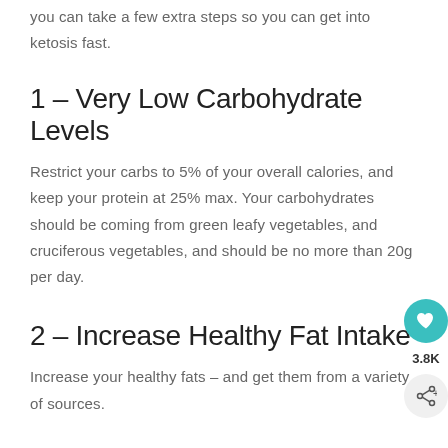you can take a few extra steps so you can get into ketosis fast.
1 – Very Low Carbohydrate Levels
Restrict your carbs to 5% of your overall calories, and keep your protein at 25% max. Your carbohydrates should be coming from green leafy vegetables, and cruciferous vegetables, and should be no more than 20g per day.
2 – Increase Healthy Fat Intake
Increase your healthy fats – and get them from a variety of sources.